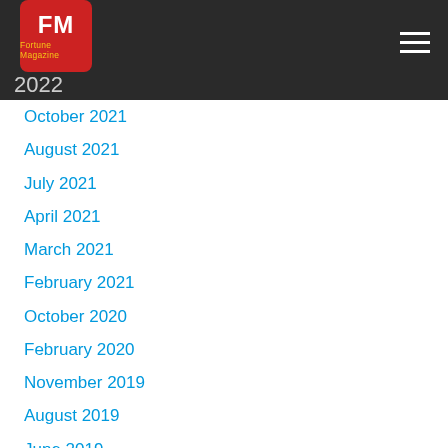FM Fortune Magazine — 2022, 2021
October 2021
August 2021
July 2021
April 2021
March 2021
February 2021
October 2020
February 2020
November 2019
August 2019
June 2019
May 2019
April 2019
January 2019
August 2018
May 2018
April 2018